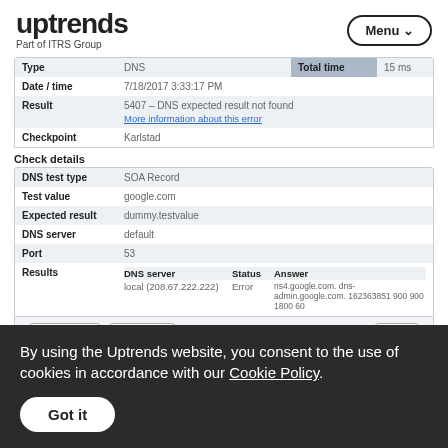uptrends - Part of ITRS Group | Menu
| Field | Value | Field2 | Value2 |
| --- | --- | --- | --- |
| Type | DNS | Total time | 15 ms |
| Date / time | 7/18/2017 3:33:17 PM |  |  |
| Result | 5407 - DNS expected result not found
More information about this error |  |  |
| Checkpoint | Karlstad |  |  |
Check details
| Field | Value |
| --- | --- |
| DNS test type | SOA Record |
| Test value | google.com |
| Expected result | dummy.testvalue |
| DNS server | default |
| Port | 53 |
| Results | DNS server | Status | Answer
local (208.67.222.222) | Error | ns4.google.com. dns-admin.google.com. 162363851 900 900 1800 60 |
Edit monitor | Clear error | Close
By using the Uptrends website, you consent to the use of cookies in accordance with our Cookie Policy.
Got it